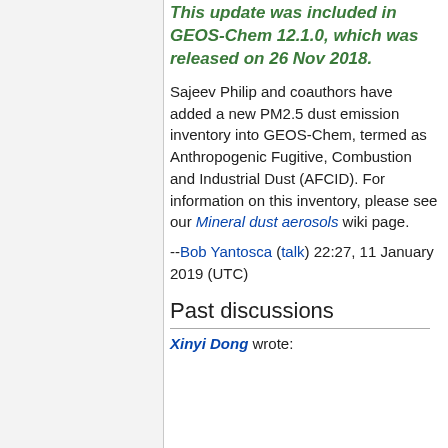This update was included in GEOS-Chem 12.1.0, which was released on 26 Nov 2018.
Sajeev Philip and coauthors have added a new PM2.5 dust emission inventory into GEOS-Chem, termed as Anthropogenic Fugitive, Combustion and Industrial Dust (AFCID). For information on this inventory, please see our Mineral dust aerosols wiki page.
--Bob Yantosca (talk) 22:27, 11 January 2019 (UTC)
Past discussions
Xinyi Dong wrote: